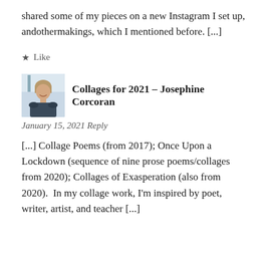shared some of my pieces on a new Instagram I set up, andothermakings, which I mentioned before. [...]
★ Like
[Figure (photo): Profile photo of a woman with light hair, smiling, wearing a dark top, with a light background]
Collages for 2021 – Josephine Corcoran
January 15, 2021 Reply
[...] Collage Poems (from 2017); Once Upon a Lockdown (sequence of nine prose poems/collages from 2020); Collages of Exasperation (also from 2020).  In my collage work, I'm inspired by poet, writer, artist, and teacher [...]